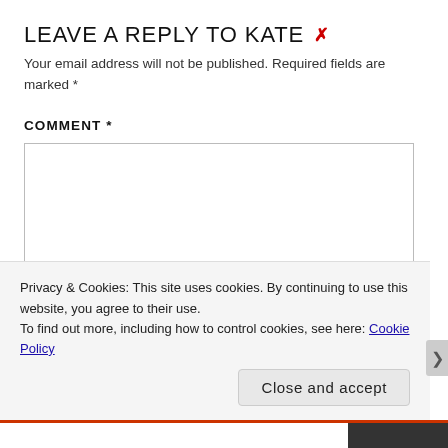LEAVE A REPLY TO KATE ×
Your email address will not be published. Required fields are marked *
COMMENT *
[Comment text area - empty form field]
Privacy & Cookies: This site uses cookies. By continuing to use this website, you agree to their use.
To find out more, including how to control cookies, see here: Cookie Policy
Close and accept